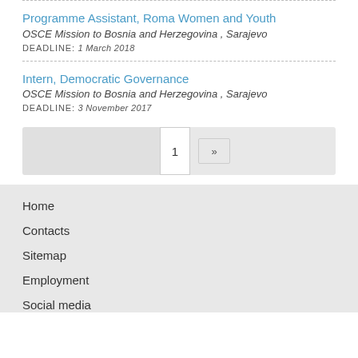Programme Assistant, Roma Women and Youth
OSCE Mission to Bosnia and Herzegovina , Sarajevo
DEADLINE: 1 March 2018
Intern, Democratic Governance
OSCE Mission to Bosnia and Herzegovina , Sarajevo
DEADLINE: 3 November 2017
1
Home
Contacts
Sitemap
Employment
Social media